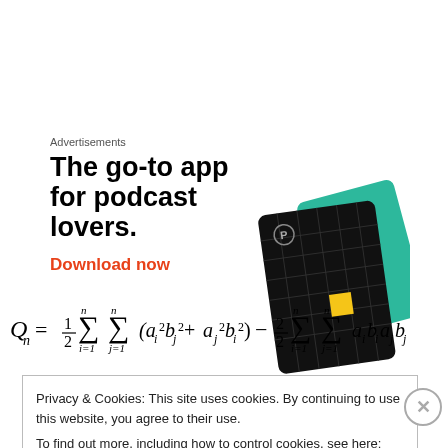Advertisements
[Figure (illustration): Advertisement for a podcast app. Bold black text reads 'The go-to app for podcast lovers.' with red 'Download now' link. Images of app cards (black with grid and yellow square, and green card with 'On' text) shown to the right.]
Privacy & Cookies: This site uses cookies. By continuing to use this website, you agree to their use.
To find out more, including how to control cookies, see here: Cookie Policy
Close and accept